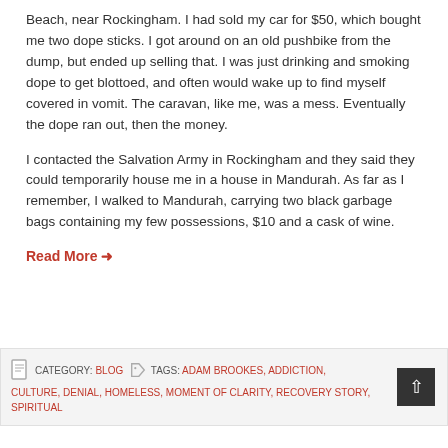Beach, near Rockingham. I had sold my car for $50, which bought me two dope sticks. I got around on an old pushbike from the dump, but ended up selling that. I was just drinking and smoking dope to get blottoed, and often would wake up to find myself covered in vomit. The caravan, like me, was a mess. Eventually the dope ran out, then the money.
I contacted the Salvation Army in Rockingham and they said they could temporarily house me in a house in Mandurah. As far as I remember, I walked to Mandurah, carrying two black garbage bags containing my few possessions, $10 and a cask of wine.
Read More →
CATEGORY: BLOG   TAGS: ADAM BROOKES, ADDICTION, CULTURE, DENIAL, HOMELESS, MOMENT OF CLARITY, RECOVERY STORY, SPIRITUAL